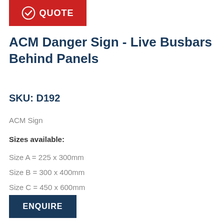[Figure (logo): Red badge with white checkmark icon and QUOTE text in white bold letters]
ACM Danger Sign - Live Busbars Behind Panels
SKU: D192
ACM Sign
Sizes available:
Size A = 225 x 300mm
Size B = 300 x 400mm
Size C = 450 x 600mm
[Figure (other): Dark navy blue ENQUIRE button]